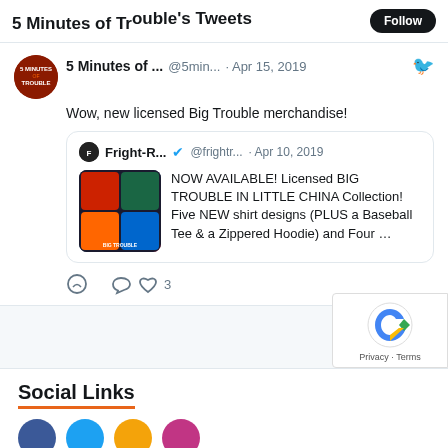5 Minutes of ... @5min... · Apr 15, 2019 — Wow, new licensed Big Trouble merchandise!
Fright-R... @frightr... · Apr 10, 2019 — NOW AVAILABLE! Licensed BIG TROUBLE IN LITTLE CHINA Collection! Five NEW shirt designs (PLUS a Baseball Tee & a Zippered Hoodie) and Four ...
5 Minutes of Trouble Retweeted
PopHor... @PopHorror... · Mar 22, 2019 — Martial artist and BIG TROUBLE IN LITTLE
Social Links